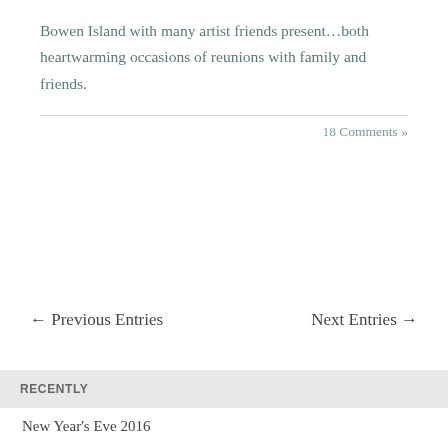Bowen Island with many artist friends present…both heartwarming occasions of reunions with family and friends.
18 Comments »
← Previous Entries
Next Entries →
RECENTLY
New Year's Eve 2016
Season's Greetings
November already…